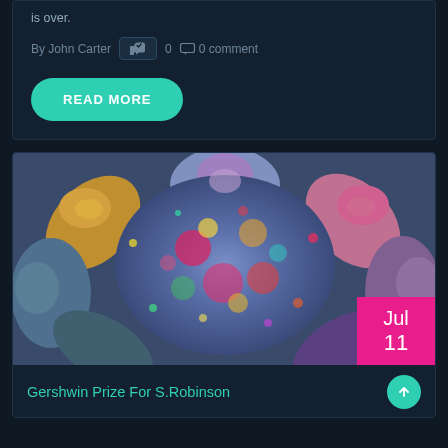is over.
By John Carter  0  0 comment
READ MORE
[Figure (photo): Aerial view of people lying in a circle with faces outward, covered in colorful Holi powder paint]
Jul 11
Gershwin Prize For S.Robinson